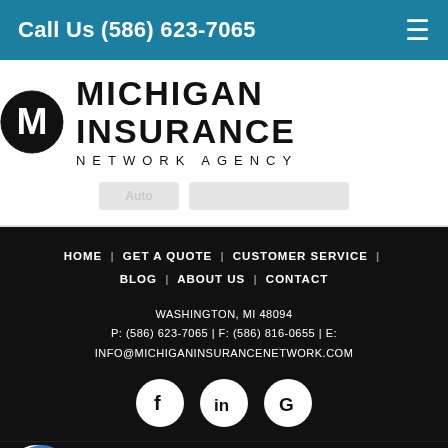Call Us (586) 623-7065
[Figure (logo): Michigan Insurance Network Agency logo with circular M icon and bold text]
HOME | GET A QUOTE | CUSTOMER SERVICE | BLOG | ABOUT US | CONTACT
WASHINGTON, MI 48094 P: (586) 623-7065 | F: (586) 816-0655 | E: INFO@MICHIGANINSURANCENETWORK.COM
[Figure (illustration): Social media icons: Facebook, LinkedIn, Google in white circles on black background]
[Figure (logo): Michigan Insurance Network Agency logo repeated at bottom, white on black]